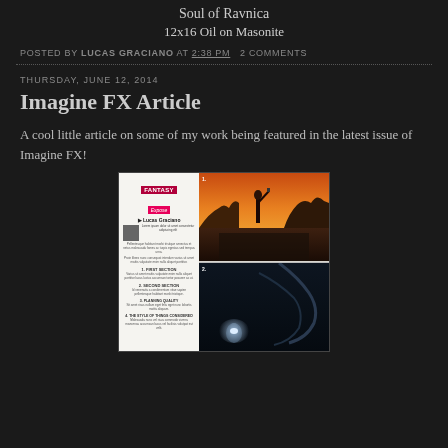Soul of Ravnica
12x16 Oil on Masonite
POSTED BY LUCAS GRACIANO AT 2:38 PM   2 COMMENTS
THURSDAY, JUNE 12, 2014
Imagine FX Article
A cool little article on some of my work being featured in the latest issue of Imagine FX!
[Figure (photo): Screenshot of an Imagine FX magazine article spread featuring Lucas Graciano's fantasy artwork, with text columns on the left and fantasy illustrations on the right including a warrior figure and a dragon scene]